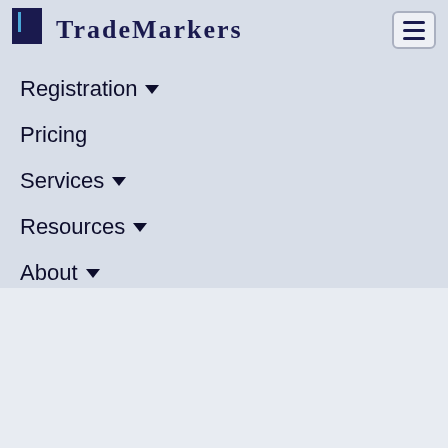[Figure (logo): TradeMarkers logo with dark blue square icon and serif text]
[Figure (other): Hamburger menu button (three horizontal lines)]
Registration ▾
Pricing
Services ▾
Resources ▾
About ▾
[Figure (logo): EUIPO logo — European Union Intellectual Property Office with gold stars ring and blue R mark]
CANCELLATION DIVISION